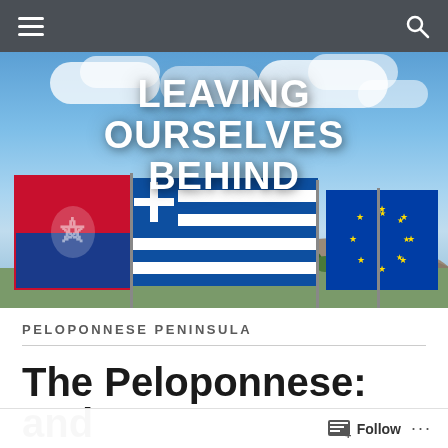Navigation bar with menu and search icons
[Figure (photo): Hero image showing Greek flags (Greek national flag, EU flag, and a red/blue municipal flag) waving in the wind with a blue sky and white clouds, with white buildings and rocky hillside in the background. Overlaid with the blog title text 'LEAVING OURSELVES BEHIND'.]
LEAVING OURSELVES BEHIND
PELOPONNESE PENINSULA
The Peloponnese: and
Follow ...